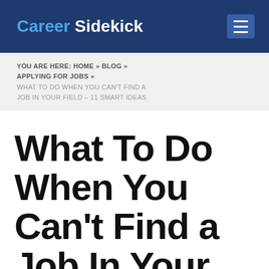Career Sidekick
YOU ARE HERE: HOME » BLOG » APPLYING FOR JOBS » WHAT TO DO WHEN YOU CAN'T FIND A JOB IN YOUR FIELD – 11 SMART IDEAS
What To Do When You Can't Find a Job In Your Field – 11 Smart Ideas